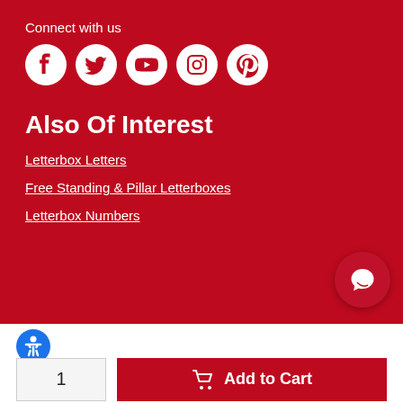Connect with us
[Figure (illustration): Row of five social media icons (Facebook, Twitter, YouTube, Instagram, Pinterest) as white circles on dark red background]
Also Of Interest
Letterbox Letters
Free Standing & Pillar Letterboxes
Letterbox Numbers
[Figure (illustration): Chat bubble icon in white circle on dark red circle, bottom right corner]
[Figure (illustration): Blue accessibility icon (person with circle)]
Quantity
1
Add to Cart